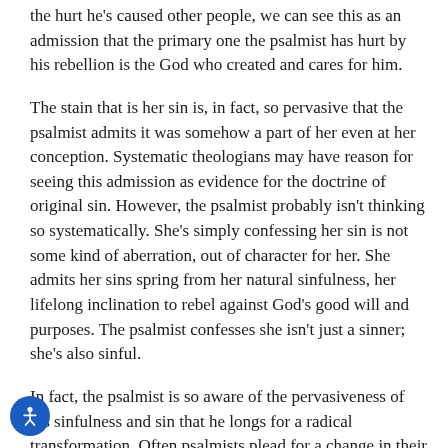the hurt he's caused other people, we can see this as an admission that the primary one the psalmist has hurt by his rebellion is the God who created and cares for him.
The stain that is her sin is, in fact, so pervasive that the psalmist admits it was somehow a part of her even at her conception. Systematic theologians may have reason for seeing this admission as evidence for the doctrine of original sin. However, the psalmist probably isn't thinking so systematically. She's simply confessing her sin is not some kind of aberration, out of character for her. She admits her sins spring from her natural sinfulness, her lifelong inclination to rebel against God's good will and purposes. The psalmist confesses she isn't just a sinner; she's also sinful.
In fact, the psalmist is so aware of the pervasiveness of his sinfulness and sin that he longs for a radical transformation. Often psalmists plead for a change in their situations. This psalmist, instead, desires a change in himself. He knows that he has sinned against God and done what is evil in God's sight. However, he desires “truth in the inner parts,” “wisdom in the inmost place,” “a pure heart” and “a steadfast spirit.”